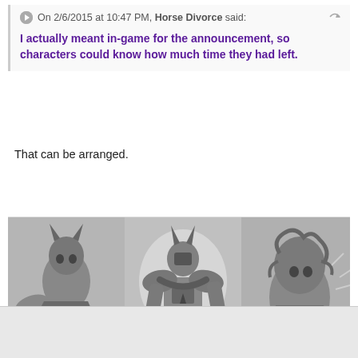On 2/6/2015 at 10:47 PM, Horse Divorce said:
I actually meant in-game for the announcement, so characters could know how much time they had left.
That can be arranged.
[Figure (illustration): Three grayscale fantasy creature character illustrations side by side]
Burnmad
Posted February 6, 2015